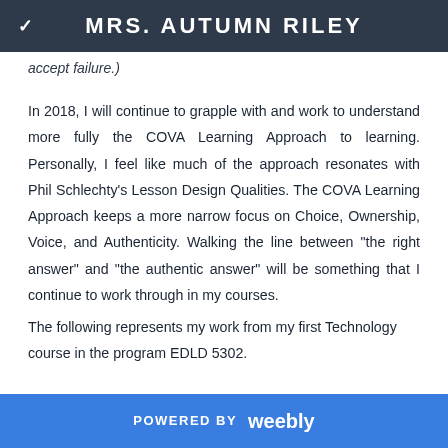MRS. AUTUMN RILEY
accept failure.)
In 2018, I will continue to grapple with and work to understand more fully the COVA Learning Approach to learning. Personally, I feel like much of the approach resonates with Phil Schlechty's Lesson Design Qualities. The COVA Learning Approach keeps a more narrow focus on Choice, Ownership, Voice, and Authenticity. Walking the line between "the right answer" and "the authentic answer" will be something that I continue to work through in my courses.
The following represents my work from my first Technology course in the program EDLD 5302.
POWERED BY weebly